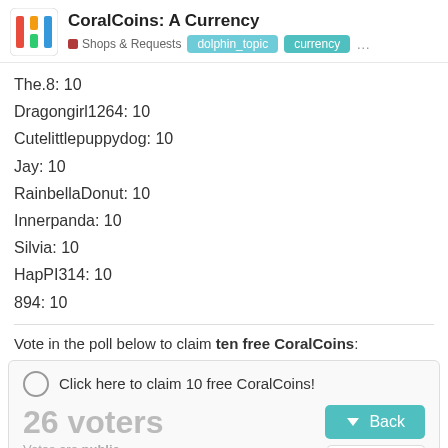CoralCoins: A Currency — Shops & Requests — dolphin_topic, currency
The.8: 10
Dragongirl1264: 10
Cutelittlepuppydog: 10
Jay: 10
RainbellaDonut: 10
Innerpanda: 10
Silvia: 10
HapPI314: 10
894: 10
Vote in the poll below to claim ten free CoralCoins:
Click here to claim 10 free CoralCoins! 26 voters Votes are public.
1 / 17